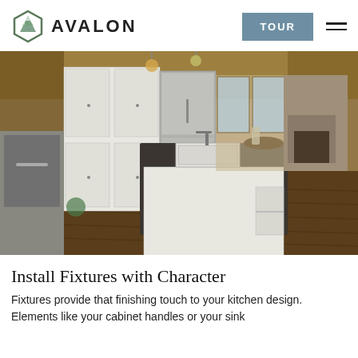AVALON  |  TOUR
[Figure (photo): Wide-angle interior photo of a luxury kitchen with white cabinetry, dark countertops, farmhouse sink, stainless steel appliances, hardwood floors, wood beam ceiling, stone fireplace, and open living area in the background.]
Install Fixtures with Character
Fixtures provide that finishing touch to your kitchen design. Elements like your cabinet handles or your sink